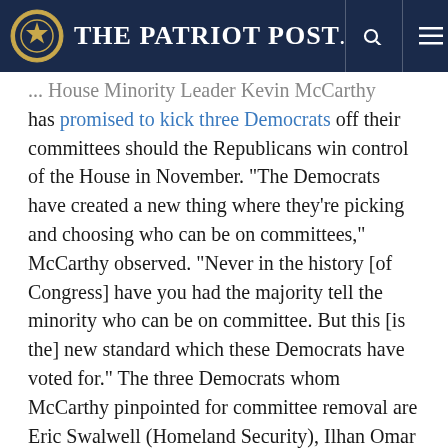The Patriot Post
... House Minority Leader Kevin McCarthy has promised to kick three Democrats off their committees should the Republicans win control of the House in November. "The Democrats have created a new thing where they're picking and choosing who can be on committees," McCarthy observed. "Never in the history [of Congress] have you had the majority tell the minority who can be on committee. But this [is the] new standard which these Democrats have voted for." The three Democrats whom McCarthy pinpointed for committee removal are Eric Swalwell (Homeland Security), Ilhan Omar (Foreign Affairs), and Adam Schiff (Intelligence Committee).
Bill Maher refuses to reject Trump voters: Lefty comedian/pundit Bill Maher is refusing to buy into